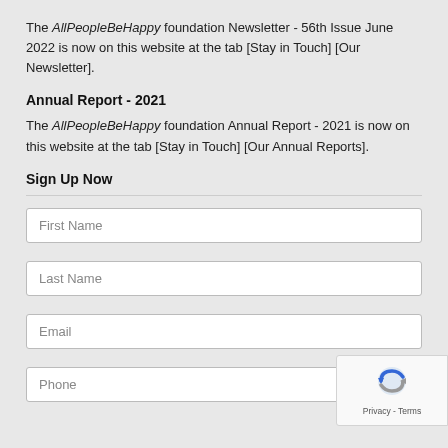The AllPeopleBeHappy foundation Newsletter - 56th Issue June 2022 is now on this website at the tab [Stay in Touch] [Our Newsletter].
Annual Report - 2021
The AllPeopleBeHappy foundation Annual Report - 2021 is now on this website at the tab [Stay in Touch] [Our Annual Reports].
Sign Up Now
First Name
Last Name
Email
Phone